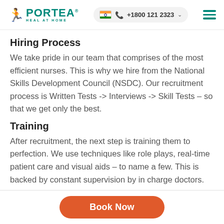[Figure (logo): Portea logo with person figure and text 'HEAL AT HOME', teal/green color scheme]
Hiring Process
We take pride in our team that comprises of the most efficient nurses. This is why we hire from the National Skills Development Council (NSDC). Our recruitment process is Written Tests -> Interviews -> Skill Tests – so that we get only the best.
Training
After recruitment, the next step is training them to perfection. We use techniques like role plays, real-time patient care and visual aids – to name a few. This is backed by constant supervision by in charge doctors.